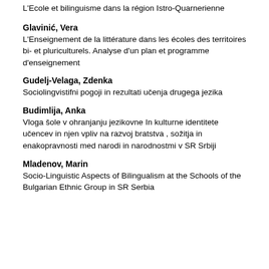L'Ecole et bilinguisme dans la région Istro-Quarnerienne
Glavinić, Vera
L'Enseignement de la littérature dans les écoles des territoires bi- et pluriculturels. Analyse d'un plan et programme d'enseignement
Gudelj-Velaga, Zdenka
Sociolingvistifni pogoji in rezultati učenja drugega jezika
Budimlija, Anka
Vloga šole v ohranjanju jezikovne In kulturne identitete učencev in njen vpliv na razvoj bratstva , sožitja in enakopravnosti med narodi in narodnostmi v SR Srbiji
Mladenov, Marin
Socio-Linguistic Aspects of Bilingualism at the Schools of the Bulgarian Ethnic Group in SR Serbia